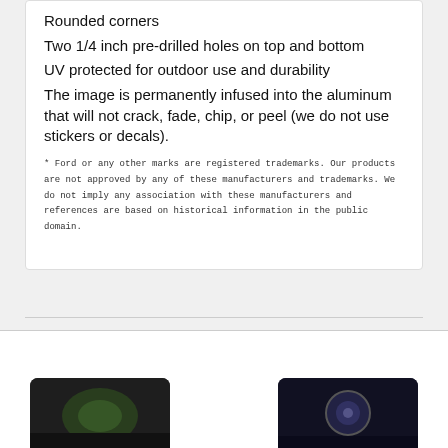Rounded corners
Two 1/4 inch pre-drilled holes on top and bottom
UV protected for outdoor use and durability
The image is permanently infused into the aluminum that will not crack, fade, chip, or peel (we do not use stickers or decals).
* Ford or any other marks are registered trademarks. Our products are not approved by any of these manufacturers and trademarks. We do not imply any association with these manufacturers and references are based on historical information in the public domain.
Related Products
[Figure (photo): Two product photos partially visible at bottom of page]
Chat with us